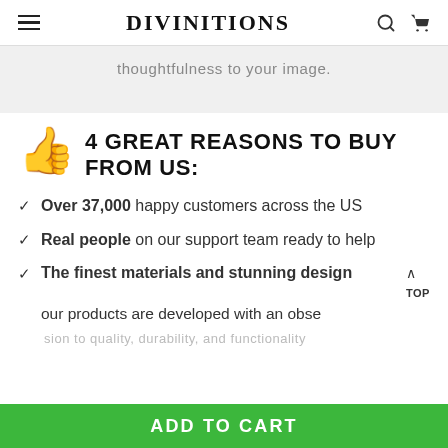DIVINITIONS
thoughtfulness to your image.
4 GREAT REASONS TO BUY FROM US:
Over 37,000 happy customers across the US
Real people on our support team ready to help
The finest materials and stunning design
our products are developed with an obse
ADD TO CART